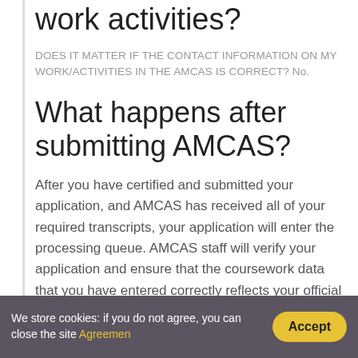work activities?
DOES IT MATTER IF THE CONTACT INFORMATION ON MY WORK/ACTIVITIES IN THE AMCAS IS CORRECT? No.
What happens after submitting AMCAS?
After you have certified and submitted your application, and AMCAS has received all of your required transcripts, your application will enter the processing queue. AMCAS staff will verify your application and ensure that the coursework data that you have entered correctly reflects your official transcript(s).
Ca...
We store cookies: if you do not agree, you can close the site Agreemen